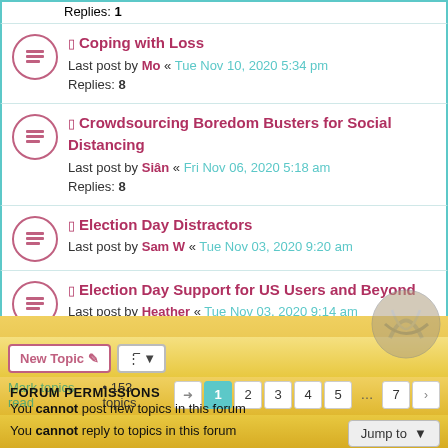Replies: 1 (partial, top of page)
Coping with Loss — Last post by Mo « Tue Nov 10, 2020 5:34 pm — Replies: 8
Crowdsourcing Boredom Busters for Social Distancing — Last post by Siân « Fri Nov 06, 2020 5:18 am — Replies: 8
Election Day Distractors — Last post by Sam W « Tue Nov 03, 2020 9:20 am
Election Day Support for US Users and Beyond — Last post by Heather « Tue Nov 03, 2020 9:14 am
New Topic | Sort | Mark topics read • 153 topics | Pages: 1 2 3 4 5 ... 7 >
Jump to
FORUM PERMISSIONS
You cannot post new topics in this forum
You cannot reply to topics in this forum